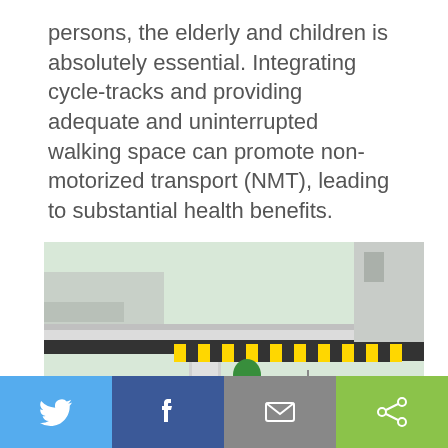persons, the elderly and children is absolutely essential. Integrating cycle-tracks and providing adequate and uninterrupted walking space can promote non-motorized transport (NMT), leading to substantial health benefits.
[Figure (illustration): 3D rendering/illustration of an urban road intersection with an overpass/flyover, showing vehicles including auto-rickshaws, cars, motorcycles, and pedestrians crossing a zebra crossing. Road scene includes traffic signs, streetlights, trees, and road markings.]